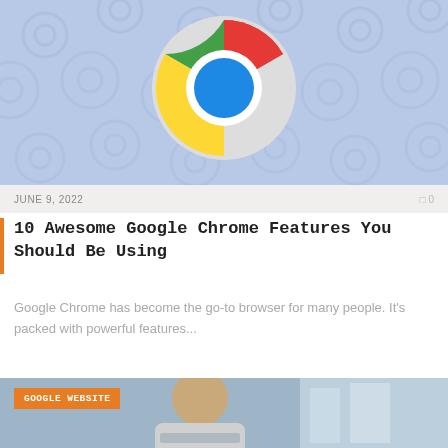[Figure (illustration): Google Chrome logo on a light blue patterned background with repeating Chrome logo watermarks]
JUNE 9, 2022
0 0
10 Awesome Google Chrome Features You Should Be Using
Google Chrome has become the go-to browser for many people. It's packed with powerful features...
[Figure (photo): Photo of a young man looking at a laptop, with GOOGLE WEBSITE badge in orange]